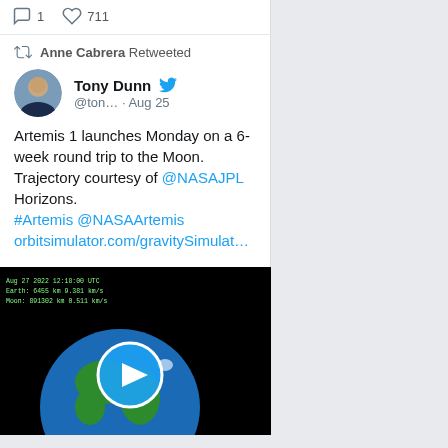1  711
Anne Cabrera Retweeted
Tony Dunn @ton… · Aug 25
Artemis 1 launches Monday on a 6-week round trip to the Moon. Trajectory courtesy of @NASAJPL Horizons. #Artemis @NASAArtemis orbitsimulator.com/gravitySimulat…
[Figure (screenshot): Video thumbnail showing Earth from space on a black background with a play button overlay, and telemetry data text in the upper left corner]